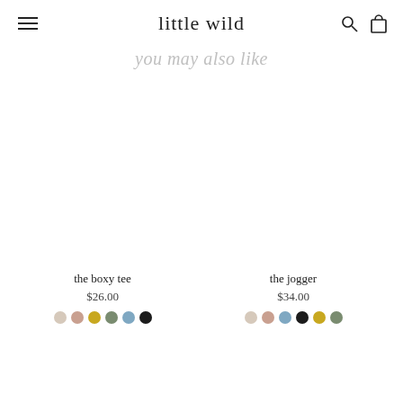little wild
you may also like
the boxy tee
$26.00
the jogger
$34.00